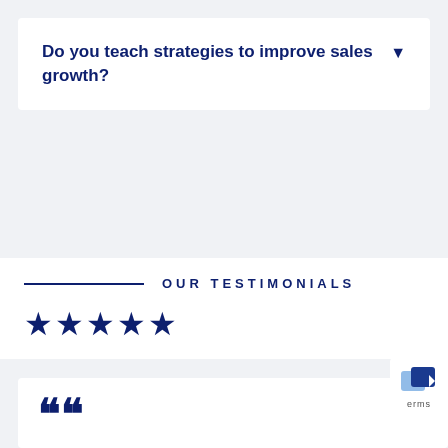Do you teach strategies to improve sales growth?
OUR TESTIMONIALS
★★★★★
"